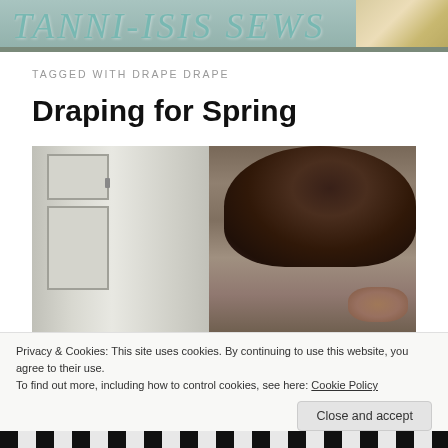TANNI-ISIS SEWS
TAGGED WITH DRAPE DRAPE
Draping for Spring
[Figure (photo): Person peeking around a white door, showing top of their head with dark hair, photographed indoors]
Privacy & Cookies: This site uses cookies. By continuing to use this website, you agree to their use.
To find out more, including how to control cookies, see here: Cookie Policy
[Figure (photo): Bottom strip showing black and white striped fabric or clothing]